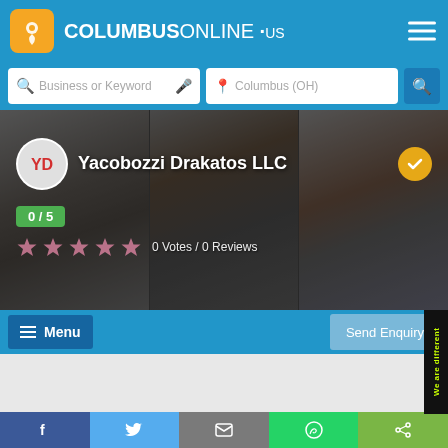COLUMBUSONLINE .us
Business or Keyword | Columbus (OH)
Yacobozzi Drakatos LLC
0/5
0 Votes / 0 Reviews
Menu
Send Enquiry
We are different